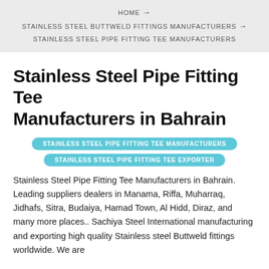HOME → STAINLESS STEEL BUTTWELD FITTINGS MANUFACTURERS → STAINLESS STEEL PIPE FITTING TEE MANUFACTURERS
Stainless Steel Pipe Fitting Tee Manufacturers in Bahrain
STAINLESS STEEL PIPE FITTING TEE MANUFACTURERS
STAINLESS STEEL PIPE FITTING TEE EXPORTER
Stainless Steel Pipe Fitting Tee Manufacturers in Bahrain. Leading suppliers dealers in Manama, Riffa, Muharraq, Jidhafs, Sitra, Budaiya, Hamad Town, Al Hidd, Diraz, and many more places.. Sachiya Steel International manufacturing and exporting high quality Stainless steel Buttweld fittings worldwide. We are
Call  Mail  Whatsapp